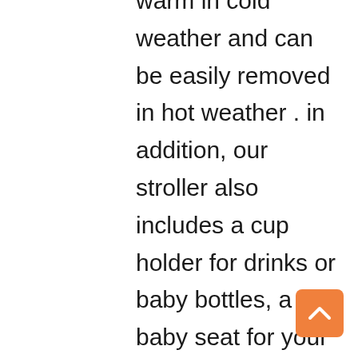this stroller can keep your child warm in cold weather and can be easily removed in hot weather . in addition, our stroller also includes a cup holder for drinks or baby bottles, a baby seat for your baby to sleep more comfortably, a mosquito net to prevent your baby from being bitten by mosquitoes, and the storage bag and basket under the seat are very suitable for storage. , stroller wrist strap and 5-point safety belt to ensure safety.